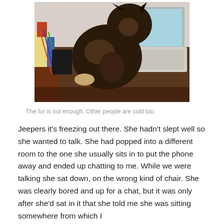[Figure (photo): A dark-colored cat sitting on a desk in front of an open laptop computer. The desk is cluttered with various items. The laptop screen shows a blue/light colored display. The photo is taken from above and slightly behind the cat.]
The fur is not enough. Other people are cold too.
Jeepers it's freezing out there. She hadn't slept well so she wanted to talk. She had popped into a different room to the one she usually sits in to put the phone away and ended up chatting to me. While we were talking she sat down, on the wrong kind of chair. She was clearly bored and up for a chat, but it was only after she'd sat in it that she told me she was sitting somewhere from which I